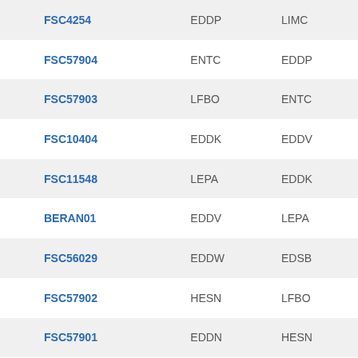| FSC4254 | EDDP | LIMC |
| FSC57904 | ENTC | EDDP |
| FSC57903 | LFBO | ENTC |
| FSC10404 | EDDK | EDDV |
| FSC11548 | LEPA | EDDK |
| BERAN01 | EDDV | LEPA |
| FSC56029 | EDDW | EDSB |
| FSC57902 | HESN | LFBO |
| FSC57901 | EDDN | HESN |